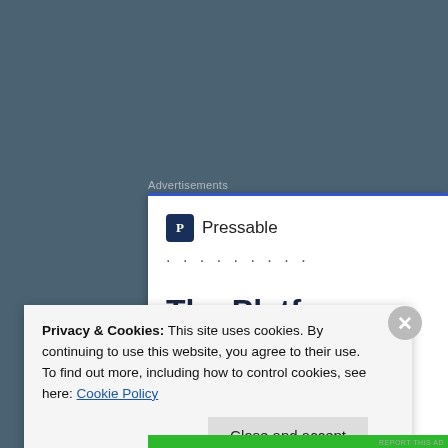Advertisements
[Figure (screenshot): Pressable advertisement banner showing the Pressable logo, dotted loading indicator, and the beginning of the text 'The Platform' in bold dark blue text on a white background with a blue top border]
I am exceptional but you can be exceptional too. 8784 signing out
Privacy & Cookies: This site uses cookies. By continuing to use this website, you agree to their use. To find out more, including how to control cookies, see here: Cookie Policy
Close and accept